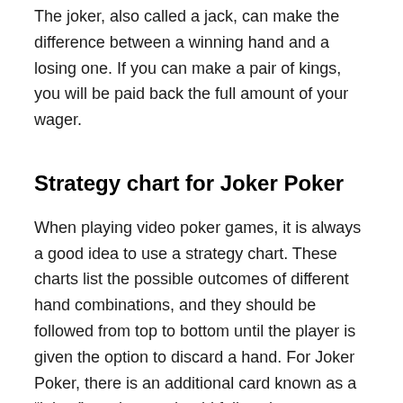The joker, also called a jack, can make the difference between a winning hand and a losing one. If you can make a pair of kings, you will be paid back the full amount of your wager.
Strategy chart for Joker Poker
When playing video poker games, it is always a good idea to use a strategy chart. These charts list the possible outcomes of different hand combinations, and they should be followed from top to bottom until the player is given the option to discard a hand. For Joker Poker, there is an additional card known as a “joker,” so players should follow the appropriate chart. To find out which chart to use, look up the appropriate hand in the example column.
The basic strategy chart for Joker Poker is the same as for